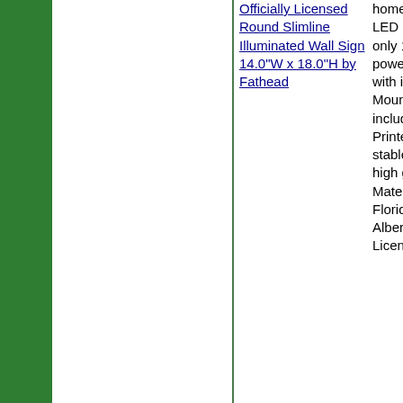Officially Licensed Round Slimline Illuminated Wall Sign 14.0"W x 18.0"H by Fathead
home, office or dorm LED lighting, uses only 12 watts of power 6" power cord with in line switch Mounting hardware included Details Printed with UV stable inks, face has high gloss finish Material content:... - Florida Gators: Albert - Officially Licensed Round
$69.9
More Info
Buy N